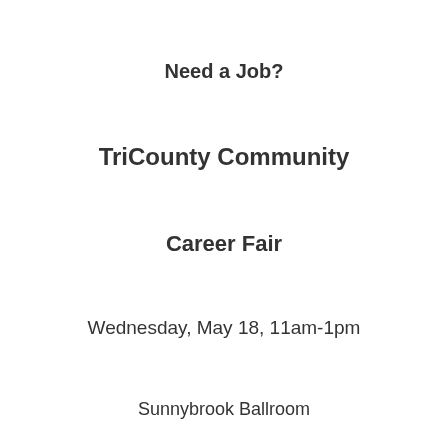Need a Job?
TriCounty Community
Career Fair
Wednesday, May 18, 11am-1pm
Sunnybrook Ballroom